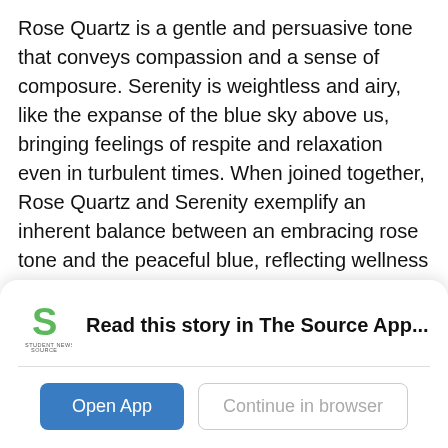Rose Quartz is a gentle and persuasive tone that conveys compassion and a sense of composure. Serenity is weightless and airy, like the expanse of the blue sky above us, bringing feelings of respite and relaxation even in turbulent times. When joined together, Rose Quartz and Serenity exemplify an inherent balance between an embracing rose tone and the peaceful blue, reflecting wellness and connection as well as a soothing sense of order and tranquility.
The combination of Serenity and Rose Quartz also challenges the traditional perceptions of color
[Figure (logo): Student News Source logo — green S-shaped icon with 'STUDENT NEWS SOURCE' text below]
Read this story in The Source App...
Open App
Continue in browser